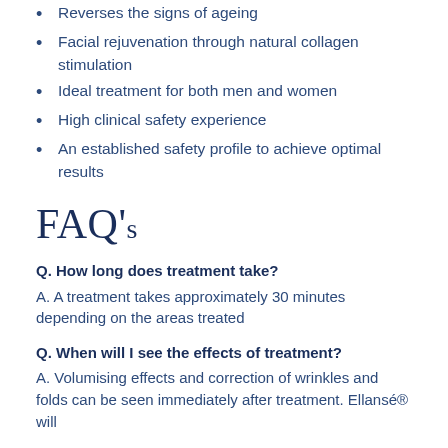Reverses the signs of ageing
Facial rejuvenation through natural collagen stimulation
Ideal treatment for both men and women
High clinical safety experience
An established safety profile to achieve optimal results
FAQ's
Q. How long does treatment take?
A. A treatment takes approximately 30 minutes depending on the areas treated
Q. When will I see the effects of treatment?
A. Volumising effects and correction of wrinkles and folds can be seen immediately after treatment. Ellansé® will